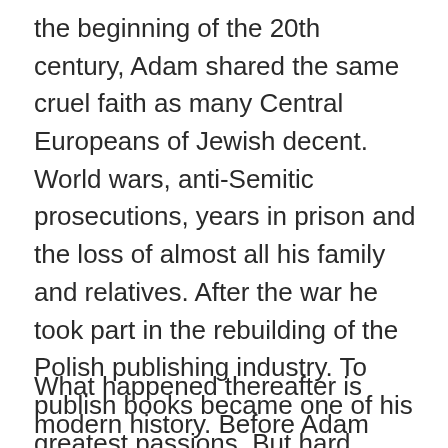the beginning of the 20th century, Adam shared the same cruel faith as many Central Europeans of Jewish decent. World wars, anti-Semitic prosecutions, years in prison and the loss of almost all his family and relatives. After the war he took part in the rebuilding of the Polish publishing industry. To publish books became one of his greatest passions. But hard years followed, he was dismissed from work, prosecuted and accused of being the enemy of the Polish state. He was forced to emigrate to Sweden with his family. And once there, why not start a publishing-house! A just enough challenge for my father, sixty-three years old in a new country where he did not know anyone or the language.
What happened thereafter is modern history. Before Adam passed away in 1993, he lived to see three of